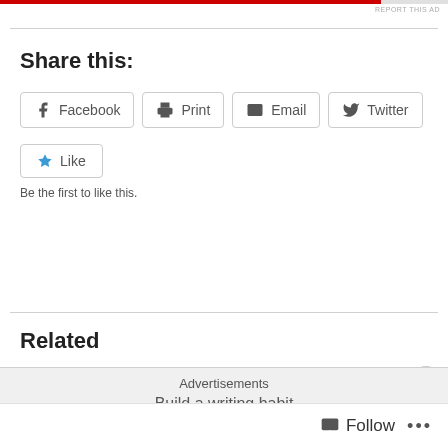REPORT THIS AD
Share this:
Facebook  Print  Email  Twitter
Like
Be the first to like this.
Related
Quantitative sources
December 1, 2014
In "offical statistics"
Positivism
Advertisements
Build a writing habit
Follow  ...